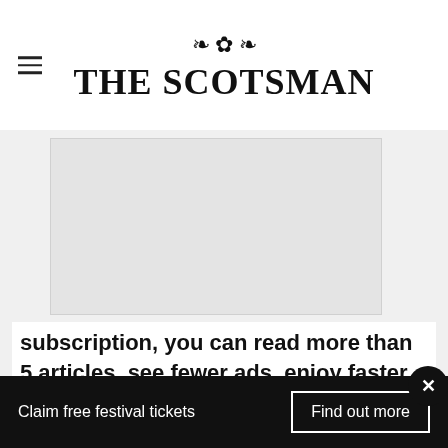THE SCOTSMAN
[Figure (illustration): Light gray rectangular image placeholder area representing a blurred/loading article image]
subscription, you can read more than 5 articles, see fewer ads, enjoy faster load times, and get access to exclusive newsletters and content.
Vis
[Figure (screenshot): Advertisement banner showing an infinity loop icon, a checkmark, 'In-store shopping' text, and a blue diamond navigation icon]
Claim free festival tickets
Find out more